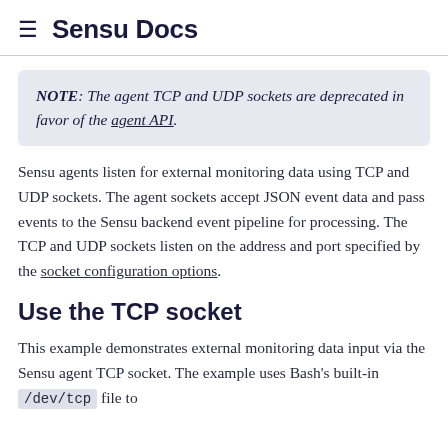≡  Sensu Docs
NOTE: The agent TCP and UDP sockets are deprecated in favor of the agent API.
Sensu agents listen for external monitoring data using TCP and UDP sockets. The agent sockets accept JSON event data and pass events to the Sensu backend event pipeline for processing. The TCP and UDP sockets listen on the address and port specified by the socket configuration options.
Use the TCP socket
This example demonstrates external monitoring data input via the Sensu agent TCP socket. The example uses Bash's built-in /dev/tcp file to